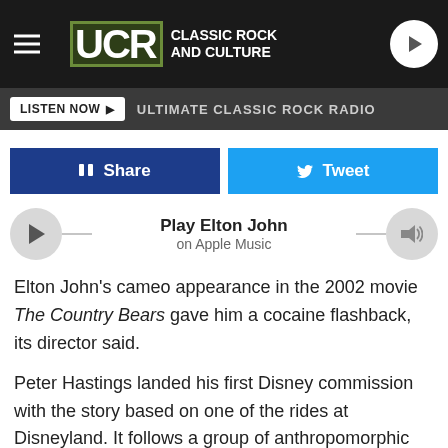UCR Classic Rock and Culture
LISTEN NOW ▶  ULTIMATE CLASSIC ROCK RADIO
f Share   Tweet
Play Elton John
on Apple Music
Elton John's cameo appearance in the 2002 movie The Country Bears gave him a cocaine flashback, its director said.
Peter Hastings landed his first Disney commission with the story based on one of the rides at Disneyland. It follows a group of anthropomorphic bears who reunite their band to